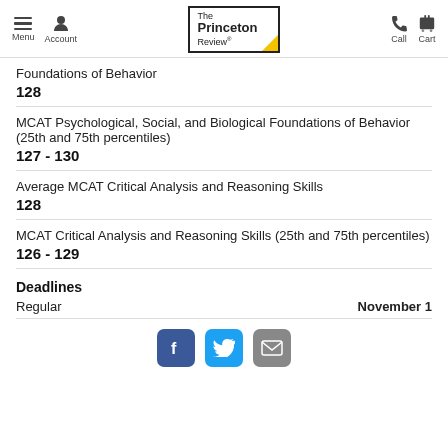Menu  Account  The Princeton Review  Call  Cart
Foundations of Behavior
128
MCAT Psychological, Social, and Biological Foundations of Behavior (25th and 75th percentiles)
127 - 130
Average MCAT Critical Analysis and Reasoning Skills
128
MCAT Critical Analysis and Reasoning Skills (25th and 75th percentiles)
126 - 129
Deadlines
Regular
November 1
[Figure (logo): Social media icons: Facebook, Twitter, Email]